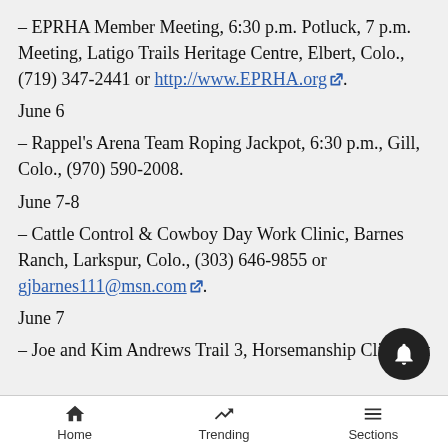– EPRHA Member Meeting, 6:30 p.m. Potluck, 7 p.m. Meeting, Latigo Trails Heritage Centre, Elbert, Colo., (719) 347-2441 or http://www.EPRHA.org.
June 6
– Rappel’s Arena Team Roping Jackpot, 6:30 p.m., Gill, Colo., (970) 590-2008.
June 7-8
– Cattle Control & Cowboy Day Work Clinic, Barnes Ranch, Larkspur, Colo., (303) 646-9855 or gjbarnes111@msn.com.
June 7
– Joe and Kim Andrews Trail 3, Horsemanship Clinic, Loveland, Colo., (970) 613-9131 or
Home   Trending   Sections